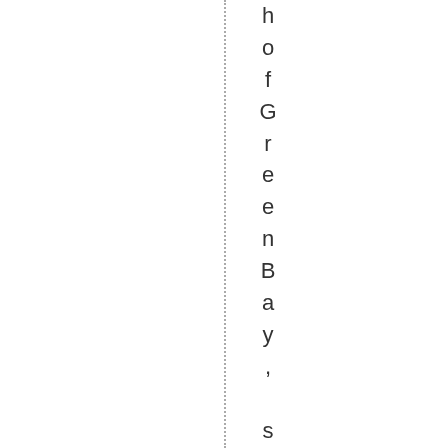hof Green Bay, s linebacker sd